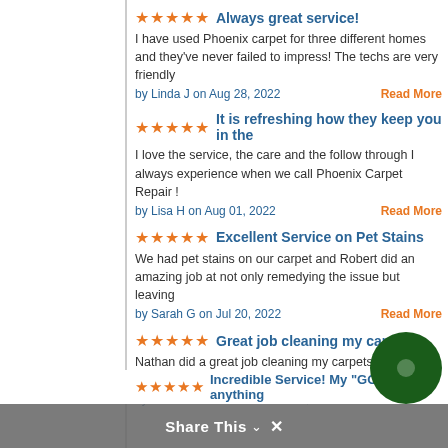★★★★★ Always great service!
I have used Phoenix carpet for three different homes and they've never failed to impress! The techs are very friendly
by Linda J on Aug 28, 2022   Read More
★★★★★ It is refreshing how they keep you in the
I love the service, the care and the follow through I always experience when we call Phoenix Carpet Repair !
by Lisa H on Aug 01, 2022   Read More
★★★★★ Excellent Service on Pet Stains
We had pet stains on our carpet and Robert did an amazing job at not only remedying the issue but leaving
by Sarah G on Jul 20, 2022   Read More
★★★★★ Great job cleaning my carpets
Nathan did a great job cleaning my carpets, they look brand new
by Dennis Gerhard G on Mar 02, 2022   Read More
★★★★★ Incredible Service! My "GO TO" anything
Share This